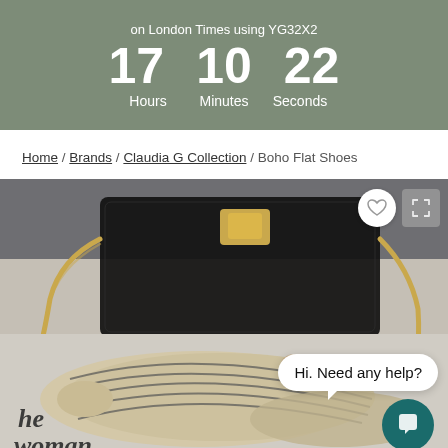on London Times using YG32X2
17 Hours 10 Minutes 22 Seconds
Home / Brands / Claudia G Collection / Boho Flat Shoes
[Figure (photo): Product photo of Boho Flat Shoes (striped ballet flats) next to a black glitter chain bag with gold hardware, placed on a magazine, with a chat bubble overlay saying 'Hi. Need any help?' and a teal chat icon button.]